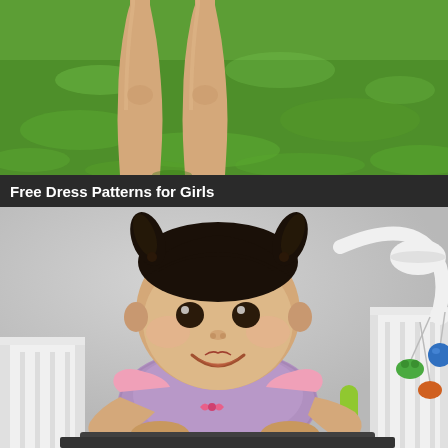[Figure (photo): Close-up photo of a child's legs standing on green grass, viewed from waist down]
Free Dress Patterns for Girls
[Figure (photo): Smiling toddler girl with two small pigtails wearing a purple crocheted dress with a pink bow, sitting at a white crib/baby furniture with a colorful toy mobile in the background]